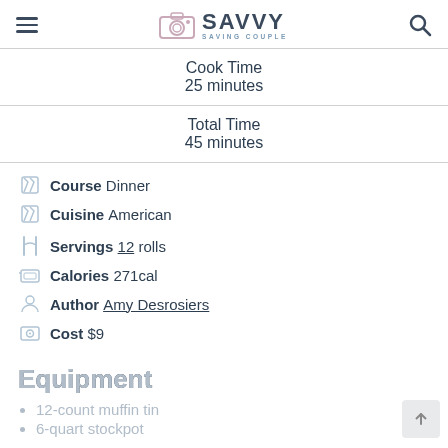Savvy Saving Couple
Cook Time
25 minutes
Total Time
45 minutes
Course  Dinner
Cuisine  American
Servings  12 rolls
Calories  271cal
Author  Amy Desrosiers
Cost  $9
Equipment
12-count muffin tin
6-quart stockpot